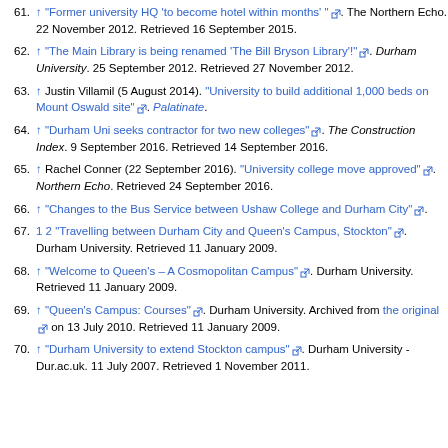61. ↑ "Former university HQ 'to become hotel within months'" [link]. The Northern Echo. 22 November 2012. Retrieved 16 September 2015.
62. ↑ "The Main Library is being renamed 'The Bill Bryson Library'!" [link]. Durham University. 25 September 2012. Retrieved 27 November 2012.
63. ↑ Justin Villamil (5 August 2014). "University to build additional 1,000 beds on Mount Oswald site" [link]. Palatinate.
64. ↑ "Durham Uni seeks contractor for two new colleges" [link]. The Construction Index. 9 September 2016. Retrieved 14 September 2016.
65. ↑ Rachel Conner (22 September 2016). "University college move approved" [link]. Northern Echo. Retrieved 24 September 2016.
66. ↑ "Changes to the Bus Service between Ushaw College and Durham City" [link].
67. 1 2 "Travelling between Durham City and Queen's Campus, Stockton" [link]. Durham University. Retrieved 11 January 2009.
68. ↑ "Welcome to Queen's – A Cosmopolitan Campus" [link]. Durham University. Retrieved 11 January 2009.
69. ↑ "Queen's Campus: Courses" [link]. Durham University. Archived from the original [link] on 13 July 2010. Retrieved 11 January 2009.
70. ↑ "Durham University to extend Stockton campus" [link]. Durham University - Dur.ac.uk. 11 July 2007. Retrieved 1 November 2011.